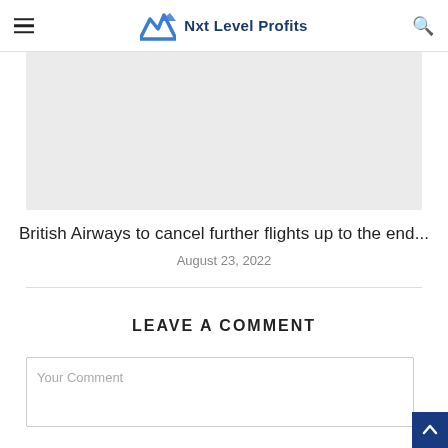Nxt Level Profits
[Figure (photo): Gray image placeholder area for article thumbnail]
British Airways to cancel further flights up to the end...
August 23, 2022
LEAVE A COMMENT
Your Comment